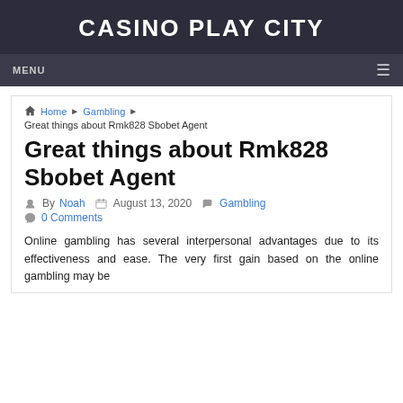CASINO PLAY CITY
MENU
Home › Gambling › Great things about Rmk828 Sbobet Agent
Great things about Rmk828 Sbobet Agent
By Noah  August 13, 2020  Gambling  0 Comments
Online gambling has several interpersonal advantages due to its effectiveness and ease. The very first gain based on the online gambling may be